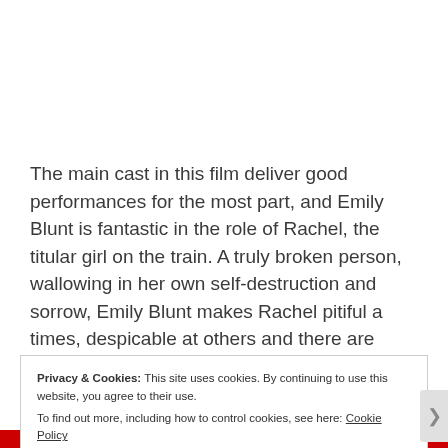The main cast in this film deliver good performances for the most part, and Emily Blunt is fantastic in the role of Rachel, the titular girl on the train. A truly broken person, wallowing in her own self-destruction and sorrow, Emily Blunt makes Rachel pitiful a times, despicable at others and there are
Privacy & Cookies: This site uses cookies. By continuing to use this website, you agree to their use.
To find out more, including how to control cookies, see here: Cookie Policy
Close and accept